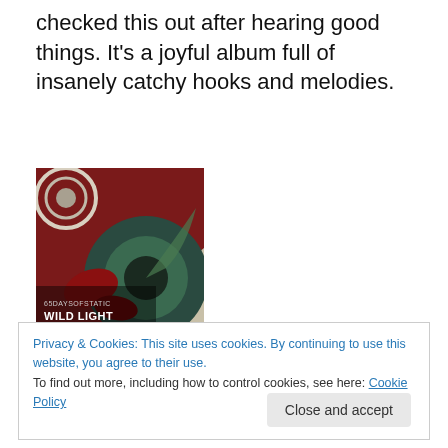checked this out after hearing good things. It's a joyful album full of insanely catchy hooks and melodies.
[Figure (photo): Album cover for '65daysofstatic – Wild Light', showing abstract colorful swirling artwork with text '65DAYSOFSTATIC WILD LIGHT' in bottom left]
65daysofstatic – Wild Light
Three years after the rather disappointing (to these ears)
Privacy & Cookies: This site uses cookies. By continuing to use this website, you agree to their use.
To find out more, including how to control cookies, see here: Cookie Policy
Close and accept